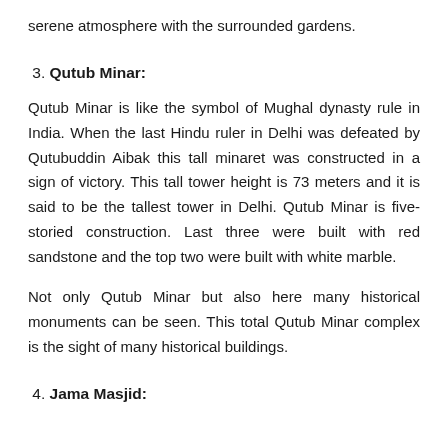serene atmosphere with the surrounded gardens.
3. Qutub Minar:
Qutub Minar is like the symbol of Mughal dynasty rule in India. When the last Hindu ruler in Delhi was defeated by Qutubuddin Aibak this tall minaret was constructed in a sign of victory. This tall tower height is 73 meters and it is said to be the tallest tower in Delhi. Qutub Minar is five-storied construction. Last three were built with red sandstone and the top two were built with white marble.
Not only Qutub Minar but also here many historical monuments can be seen. This total Qutub Minar complex is the sight of many historical buildings.
4. Jama Masjid: